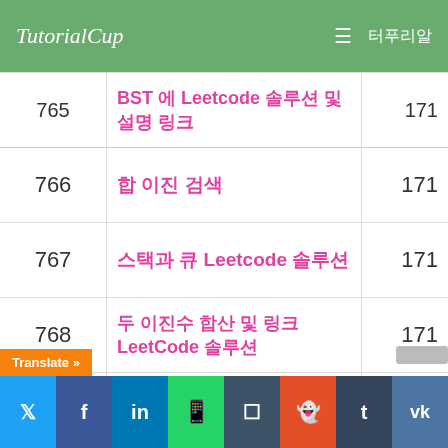TutorialCup
| # | Title | Page |
| --- | --- | --- |
| 765 | BST 에 Leetcode 솔루션 및 설명 링크 | 171 |
| 766 | 합 이진 검색 | 171 |
| 767 | 스택과 큐 Leetcode 솔루션 | 171 |
| 768 | 두 이진수 합산 및 링크 LeetCode 솔루션 | 171 |
| 769 | 이진 BST와 중위 및 수정 명령 | 171 |
| 770 | N 번째 노드 Leetcode 연결리스트에서 제거 | 171 |
| 771 | 두개 정렬 복수 병합 두 목록 합병 | 171 |
| 772 | Base 7 Leetcode 솔루션 | 171 |
Translate » | Twitter | Facebook | LinkedIn | WhatsApp | Buffer | Reddit | Tumblr | VK